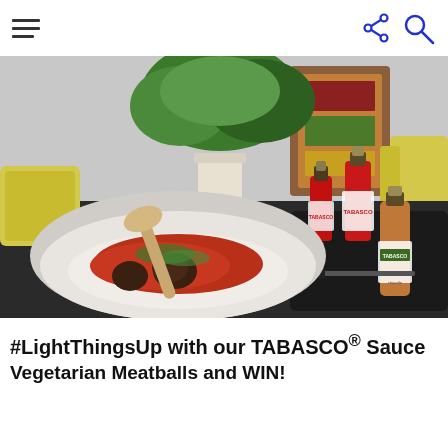[Figure (photo): Navigation bar with hamburger menu icon on the left and share and search icons on the right in blue]
[Figure (photo): Food photography showing a bowl of vegetarian meatballs in tomato sauce on rice with TABASCO sauce bottles on a dark plate in the background, with plants and decorative items]
#LightThingsUp with our TABASCO® Sauce Vegetarian Meatballs and WIN!